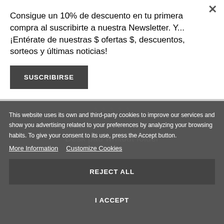Consigue un 10% de descuento en tu primera compra al suscribirte a nuestra Newsletter. Y...¡Entérate de nuestras $ ofertas $, descuentos, sorteos y últimas noticias!
SUSCRIBIRSE
This website uses its own and third-party cookies to improve our services and show you advertising related to your preferences by analyzing your browsing habits. To give your consent to its use, press the Accept button.
More Information
Customize Cookies
Desk pad whitout folder
39,00€
REJECT ALL
I ACCEPT